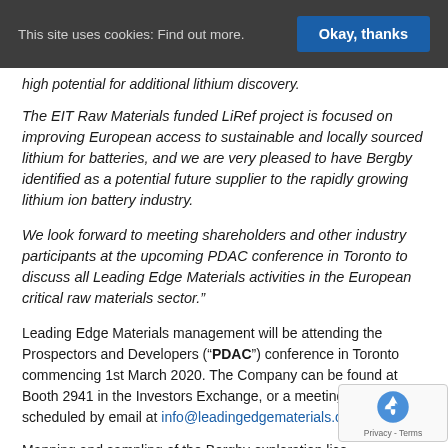This site uses cookies: Find out more. | Okay, thanks
high potential for additional lithium discovery.
The EIT Raw Materials funded LiRef project is focused on improving European access to sustainable and locally sourced lithium for batteries, and we are very pleased to have Bergby identified as a potential future supplier to the rapidly growing lithium ion battery industry.
We look forward to meeting shareholders and other industry participants at the upcoming PDAC conference in Toronto to discuss all Leading Edge Materials activities in the European critical raw materials sector.”
Leading Edge Materials management will be attending the Prospectors and Developers (“PDAC”) conference in Toronto commencing 1st March 2020. The Company can be found at Booth 2941 in the Investors Exchange, or a meeting can be scheduled by email at info@leadingedgematerials.com.
Mapping and sampling of the Bergby exploration lice... from 2016 located numerous angular lithium-mineralized...